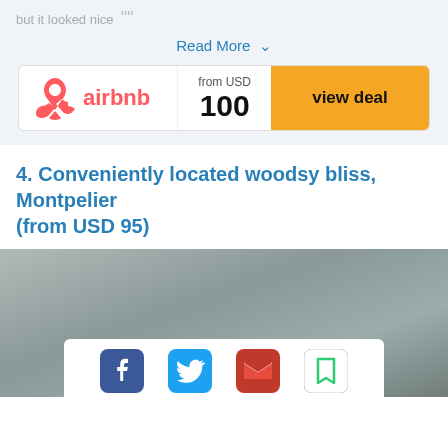but it looked nice
Read More ∨
[Figure (logo): Airbnb logo with price 'from USD 100' and 'view deal' button in yellow]
4. Conveniently located woodsy bliss, Montpelier (from USD 95)
[Figure (photo): Blurred outdoor/landscape photo with muted green-grey tones]
[Figure (infographic): Social sharing bar with Facebook, Twitter, Email, and Bookmark icons]